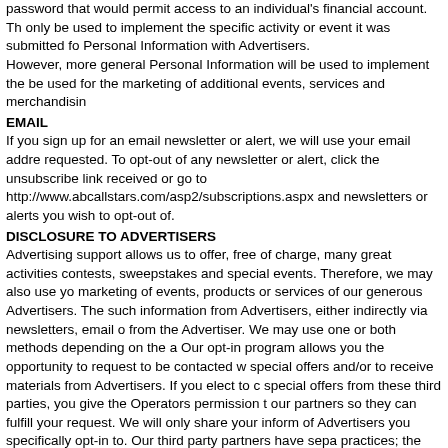password that would permit access to an individual's financial account. Th only be used to implement the specific activity or event it was submitted fo Personal Information with Advertisers.
However, more general Personal Information will be used to implement the be used for the marketing of additional events, services and merchandisin
EMAIL
If you sign up for an email newsletter or alert, we will use your email addre requested. To opt-out of any newsletter or alert, click the unsubscribe link received or go to http://www.abcallstars.com/asp2/subscriptions.aspx and newsletters or alerts you wish to opt-out of.
DISCLOSURE TO ADVERTISERS
Advertising support allows us to offer, free of charge, many great activities contests, sweepstakes and special events. Therefore, we may also use yo marketing of events, products or services of our generous Advertisers. The such information from Advertisers, either indirectly via newsletters, email o from the Advertiser. We may use one or both methods depending on the a Our opt-in program allows you the opportunity to request to be contacted w special offers and/or to receive materials from Advertisers. If you elect to c special offers from these third parties, you give the Operators permission t our partners so they can fulfill your request. We will only share your inform of Advertisers you specifically opt-in to. Our third party partners have sepa practices; the Operators have no responsibility or liability for these indepen If you do not want your personal information shared with Advertisers, plea our opt-in program.
You have the option of completing online surveys as a part of the rewards